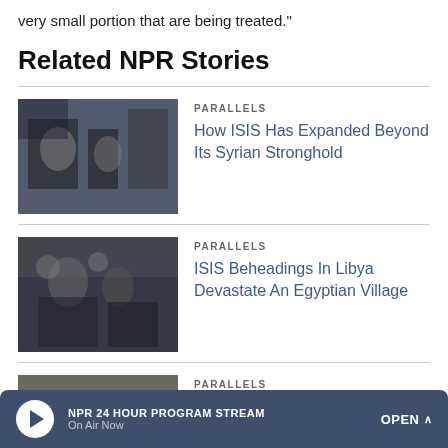very small portion that are being treated."
Related NPR Stories
PARALLELS — How ISIS Has Expanded Beyond Its Syrian Stronghold
PARALLELS — ISIS Beheadings In Libya Devastate An Egyptian Village
PARALLELS — ISIS May Be Gone, But Life Has Yet To Return To Normal In Northern Iraq
NPR 24 HOUR PROGRAM STREAM | On Air Now | OPEN